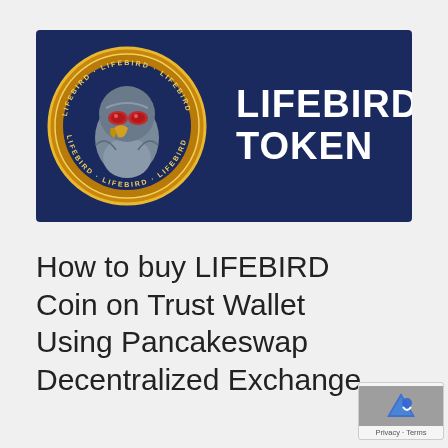[Figure (logo): LIFEBIRD TOKEN banner with dark navy blue background. Left side shows a gold coin with an eagle/hawk head illustration wearing red glasses, with 'LIFEBIRD' text repeated around the coin rim. Right side shows bold white text 'LIFEBIRD TOKEN' in all caps.]
How to buy LIFEBIRD Coin on Trust Wallet Using Pancakeswap Decentralized Exchange
[Figure (other): reCAPTCHA badge in bottom right corner with gray background and blue shield icon, showing Privacy - Terms text below]